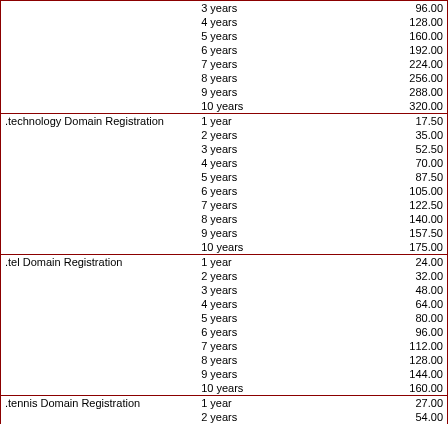| Service | Term | Price |
| --- | --- | --- |
|  | 3 years | 96.00 |
|  | 4 years | 128.00 |
|  | 5 years | 160.00 |
|  | 6 years | 192.00 |
|  | 7 years | 224.00 |
|  | 8 years | 256.00 |
|  | 9 years | 288.00 |
|  | 10 years | 320.00 |
| .technology Domain Registration | 1 year | 17.50 |
|  | 2 years | 35.00 |
|  | 3 years | 52.50 |
|  | 4 years | 70.00 |
|  | 5 years | 87.50 |
|  | 6 years | 105.00 |
|  | 7 years | 122.50 |
|  | 8 years | 140.00 |
|  | 9 years | 157.50 |
|  | 10 years | 175.00 |
| .tel Domain Registration | 1 year | 24.00 |
|  | 2 years | 32.00 |
|  | 3 years | 48.00 |
|  | 4 years | 64.00 |
|  | 5 years | 80.00 |
|  | 6 years | 96.00 |
|  | 7 years | 112.00 |
|  | 8 years | 128.00 |
|  | 9 years | 144.00 |
|  | 10 years | 160.00 |
| .tennis Domain Registration | 1 year | 27.00 |
|  | 2 years | 54.00 |